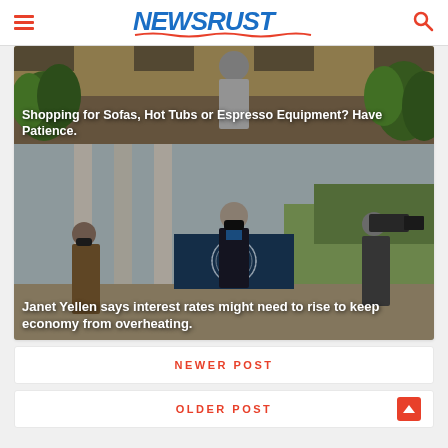NEWSRUST
[Figure (photo): Shopping for sofas photo with plants and furniture in background]
Shopping for Sofas, Hot Tubs or Espresso Equipment? Have Patience.
[Figure (photo): Janet Yellen walking outdoors near Presidential seal podium, with camera crew and security personnel wearing masks]
Janet Yellen says interest rates might need to rise to keep economy from overheating.
NEWER POST
OLDER POST